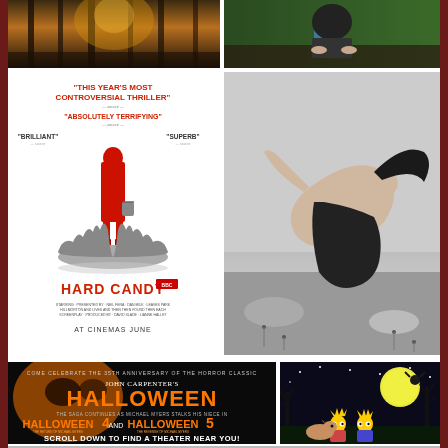[Figure (photo): Forest scene with golden light through trees]
[Figure (photo): Person sitting at a table, dark clothing, green background]
[Figure (photo): Hard Candy movie poster with red-hooded figure standing on bear trap, text: THIS YEAR'S MOST CONTROVERSIAL THRILLER, ABSOLUTELY TERRIFYING, BRILLIANT, SUPERB, HARD CANDY, AT CINEMAS JUNE]
[Figure (photo): Black and white photo of a person arching backwards dramatically in a field]
[Figure (photo): Halloween movie promotional image: Come celebrate the 35th anniversary of the horror classic, John Carpenter's Halloween, Halloween 4 and Halloween 5, Scroll down to find a theater near you!]
[Figure (illustration): Cartoon/animated image with Simpsons-style characters under a full moon with bare trees]
[Figure (photo): Partial row of images at bottom of page]